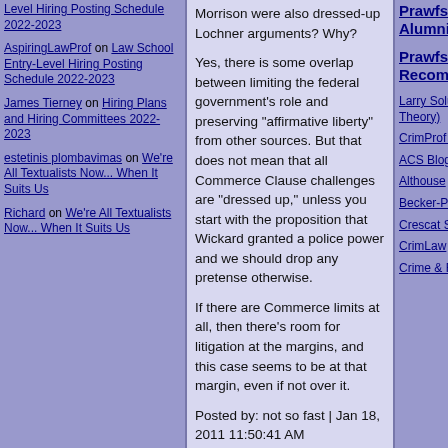Level Hiring Posting Schedule 2022-2023
AspiringLawProf on Law School Entry-Level Hiring Posting Schedule 2022-2023
James Tierney on Hiring Plans and Hiring Committees 2022-2023
estetinis plombavimas on We're All Textualists Now... When It Suits Us
Richard on We're All Textualists Now... When It Suits Us
Morrison were also dressed-up Lochner arguments? Why?
Yes, there is some overlap between limiting the federal government's role and preserving "affirmative liberty" from other sources. But that does not mean that all Commerce Clause challenges are "dressed up," unless you start with the proposition that Wickard granted a police power and we should drop any pretense otherwise.
If there are Commerce limits at all, then there's room for litigation at the margins, and this case seems to be at that margin, even if not over it.
Posted by: not so fast | Jan 18, 2011 11:50:41 AM
Some have suggested that bars on strikes (such as exist for many-most public employees) violate the 13th Amendment, because they essentially compel groups of employees to continue to work. That argument hasn't gotten a lot of traction in the courts, but it's arguably
PrawfsBl Alumni
PrawfsBl Recomm
Larry Solum (Legal Theory)
CrimProf Blog
ACS Blog
Althouse
Becker-Posner Blog
Crescat Sententia
CrimLaw
Crime & Federalism